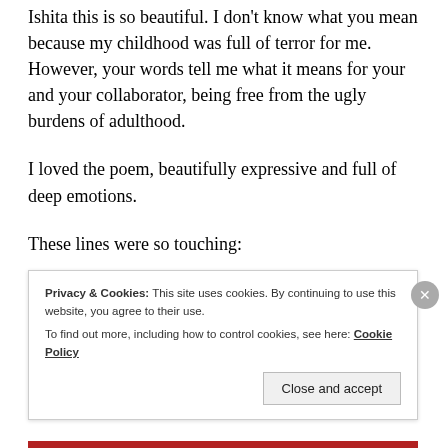Ishita this is so beautiful. I don't know what you mean because my childhood was full of terror for me. However, your words tell me what it means for your and your collaborator, being free from the ugly burdens of adulthood.
I loved the poem, beautifully expressive and full of deep emotions.
These lines were so touching:
“I won’t have to wake up to my nail marks
Privacy & Cookies: This site uses cookies. By continuing to use this website, you agree to their use.
To find out more, including how to control cookies, see here: Cookie Policy
Close and accept